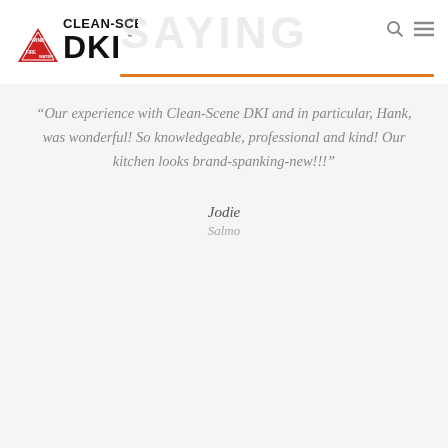[Figure (logo): Clean-Scene DKI logo with wind/fire/water triangle emblem and bold DKI text]
“Our experience with Clean-Scene DKI and in particular, Hank, was wonderful! So knowledgeable, professional and kind! Our kitchen looks brand-spanking-new!!!”
Jodie
Salmo